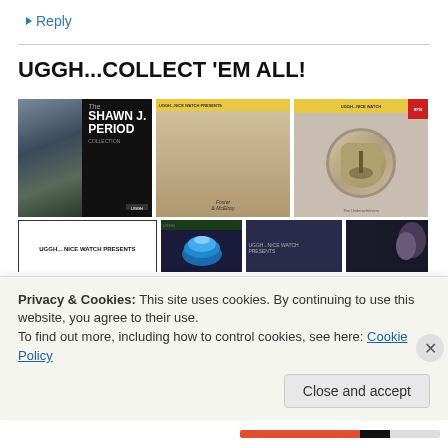↳ Reply
UGGH...COLLECT 'EM ALL!
[Figure (photo): Three music album covers in a row: The Shawn J. Period Collection (left, black), Foster & McElroy unnamed album (center, cream/sepia), and a guitar player album (right, grey/gold). Below that, four smaller album covers in a second row including 'UGGH... NICE WATCH PRESENTS' and others.]
Privacy & Cookies: This site uses cookies. By continuing to use this website, you agree to their use.
To find out more, including how to control cookies, see here: Cookie Policy
Close and accept